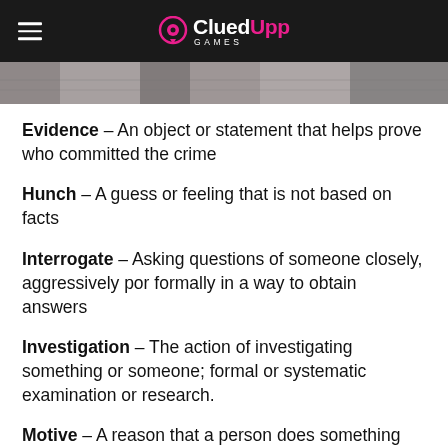CluedUpp Games
[Figure (photo): Partial photo strip showing cobblestone or stone tile surface, cropped at top of content area]
Evidence - An object or statement that helps prove who committed the crime
Hunch - A guess or feeling that is not based on facts
Interrogate - Asking questions of someone closely, aggressively por formally in a way to obtain answers
Investigation - The action of investigating something or someone; formal or systematic examination or research.
Motive - A reason that a person does something